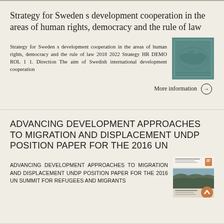Strategy for Sweden s development cooperation in the areas of human rights, democracy and the rule of law
Strategy for Sweden s development cooperation in the areas of human rights, democracy and the rule of law 2018 2022 Strategy HR DEMO ROL 1 1. Direction The aim of Swedish international development cooperation
[Figure (other): Book cover with teal/green world map graphic]
More information →
ADVANCING DEVELOPMENT APPROACHES TO MIGRATION AND DISPLACEMENT UNDP POSITION PAPER FOR THE 2016 UN
ADVANCING DEVELOPMENT APPROACHES TO MIGRATION AND DISPLACEMENT UNDP POSITION PAPER FOR THE 2016 UN SUMMIT FOR REFUGEES AND MIGRANTS
[Figure (other): Document cover with landscape photo and scroll-to-top button]